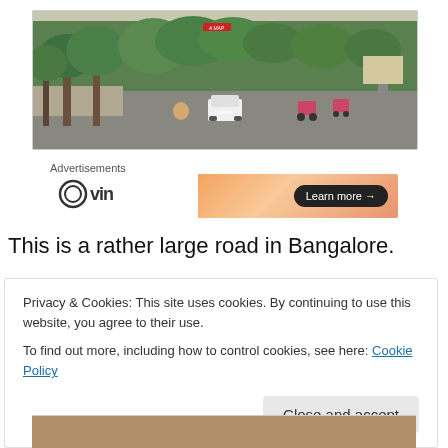[Figure (photo): Street scene showing a wide road in Bangalore with trees lining the sides, a white car ahead, motorcyclists, and pedestrians]
Advertisements
[Figure (other): Advertisement banner with VIN logo on white left side and orange gradient right side with 'Learn more →' button]
This is a rather large road in Bangalore.
Privacy & Cookies: This site uses cookies. By continuing to use this website, you agree to their use.
To find out more, including how to control cookies, see here: Cookie Policy
Close and accept